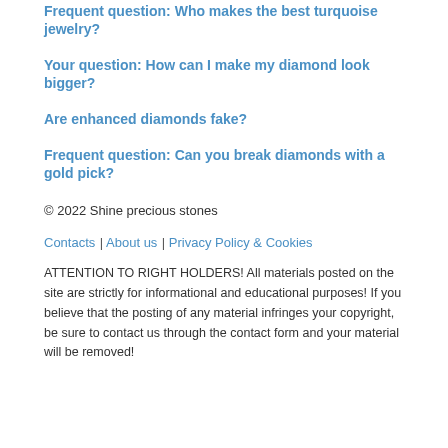Frequent question: Who makes the best turquoise jewelry?
Your question: How can I make my diamond look bigger?
Are enhanced diamonds fake?
Frequent question: Can you break diamonds with a gold pick?
© 2022 Shine precious stones
Contacts | About us | Privacy Policy & Cookies
ATTENTION TO RIGHT HOLDERS! All materials posted on the site are strictly for informational and educational purposes! If you believe that the posting of any material infringes your copyright, be sure to contact us through the contact form and your material will be removed!